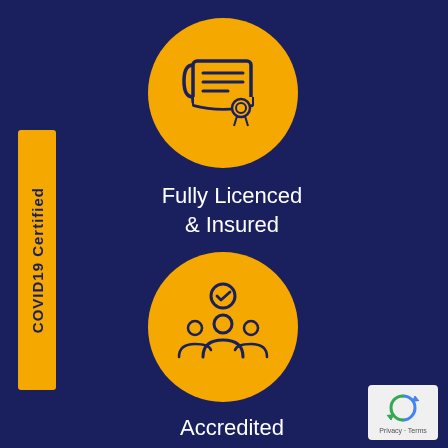[Figure (infographic): COVID19 Certified vertical yellow label on left side]
[Figure (infographic): Gold circle with certificate/scroll icon representing Fully Licenced & Insured]
Fully Licenced & Insured
[Figure (infographic): Gold circle with group of professionals and checkmark icon representing Accredited Professionals]
Accredited Professionals
[Figure (logo): Google reCAPTCHA privacy badge with Privacy and Terms text]